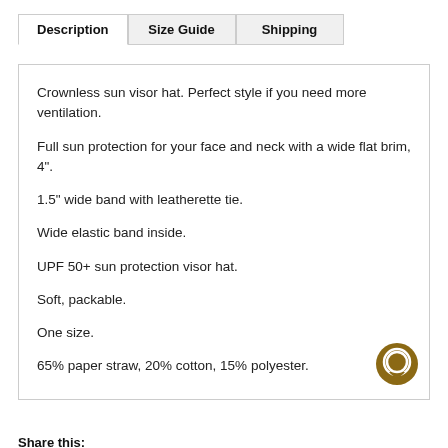Description | Size Guide | Shipping
Crownless sun visor hat. Perfect style if you need more ventilation.

Full sun protection for your face and neck with a wide flat brim, 4".

1.5" wide band with leatherette tie.

Wide elastic band inside.

UPF 50+ sun protection visor hat.

Soft, packable.

One size.

65% paper straw, 20% cotton, 15% polyester.
Share this: